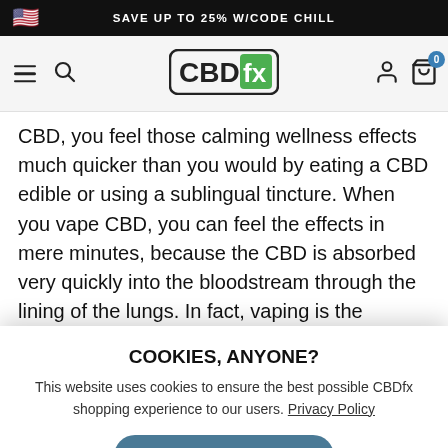SAVE UP TO 25% W/CODE CHILL
[Figure (logo): CBDfx logo with navigation bar including hamburger menu, search icon, user icon, and cart icon with badge 0]
CBD, you feel those calming wellness effects much quicker than you would by eating a CBD edible or using a sublingual tincture. When you vape CBD, you can feel the effects in mere minutes, because the CBD is absorbed very quickly into the bloodstream through the lining of the lungs. In fact, vaping is the quickest way to absorb cannabidiol!
HOW TO USE A CBD VAPE KIT
COOKIES, ANYONE?
This website uses cookies to ensure the best possible CBDfx shopping experience to our users. Privacy Policy
I ACCEPT
dependable. This easy-to-use vaporizer is also small,